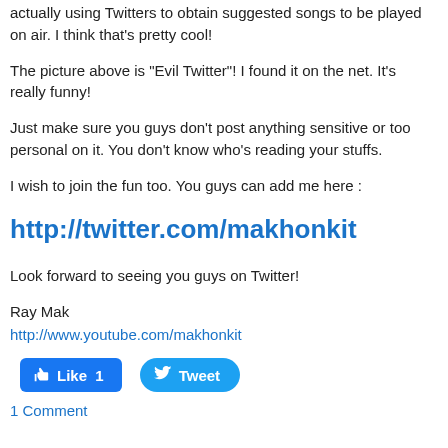actually using Twitters to obtain suggested songs to be played on air. I think that's pretty cool!
The picture above is "Evil Twitter"! I found it on the net. It's really funny!
Just make sure you guys don't post anything sensitive or too personal on it. You don't know who's reading your stuffs.
I wish to join the fun too. You guys can add me here :
http://twitter.com/makhonkit
Look forward to seeing you guys on Twitter!
Ray Mak
http://www.youtube.com/makhonkit
[Figure (other): Like button showing count 1 and Tweet button]
1 Comment